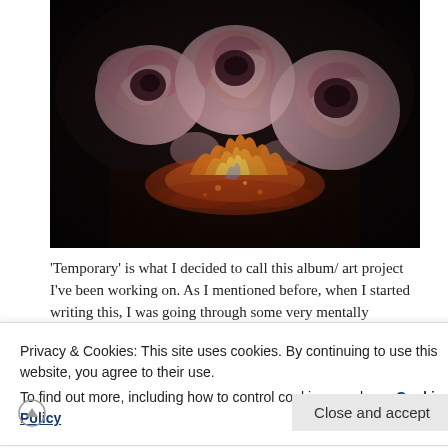[Figure (photo): Dark moody photograph of pink roses on fire against a black background. The roses are partially burned with visible orange flames underneath them.]
'Temporary' is what I decided to call this album/ art project I've been working on. As I mentioned before, when I started writing this, I was going through some very mentally
Privacy & Cookies: This site uses cookies. By continuing to use this website, you agree to their use.
To find out more, including how to control cookies, see here: Cookie Policy